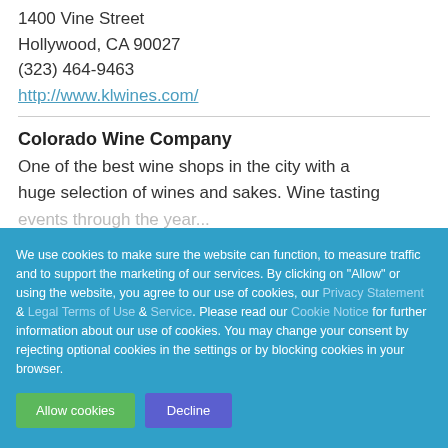1400 Vine Street
Hollywood, CA 90027
(323) 464-9463
http://www.klwines.com/
Colorado Wine Company
One of the best wine shops in the city with a huge selection of wines and sakes. Wine tasting events through the year...
We use cookies to make sure the website can function, to measure traffic and to support the marketing of our services. By clicking on "Allow" or using the website, you agree to our use of cookies, our Privacy Statement & Legal Terms of Use & Service. Please read our Cookie Notice for further information about our use of cookies. You may change your consent by rejecting optional cookies in the settings or by blocking cookies in your browser.